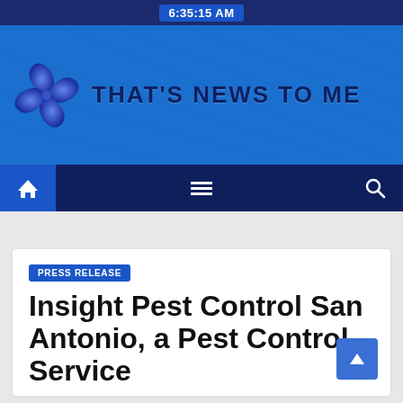6:35:15 AM
[Figure (logo): That's News To Me website logo with blue pinwheel/star icon and text 'THAT'S NEWS TO ME' on a blue banner background]
Navigation bar with home, menu, and search icons
PRESS RELEASE
Insight Pest Control San Antonio, a Pest Control Service